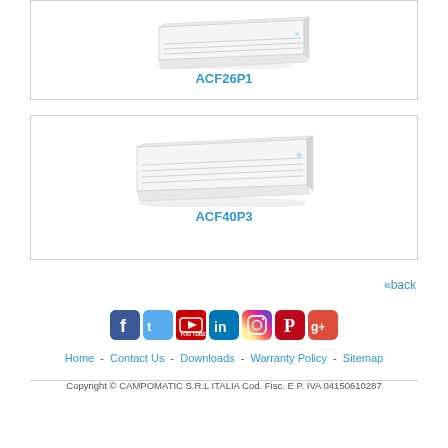[Figure (photo): ACF26P1 ceiling-mounted air conditioning unit, white, rectangular, angled perspective view]
ACF26P1
[Figure (photo): ACF40P3 ceiling-mounted air conditioning unit, white, rectangular, angled perspective view]
ACF40P3
«back
[Figure (infographic): Social media icons: Facebook, Twitter, YouTube, LinkedIn, Instagram, Pinterest, Google+]
Home - Contact Us - Downloads - Warranty Policy - Sitemap
Copyright © CAMPOMATIC S.R.L ITALIA Cod. Fisc. E P. IVA 04150610287